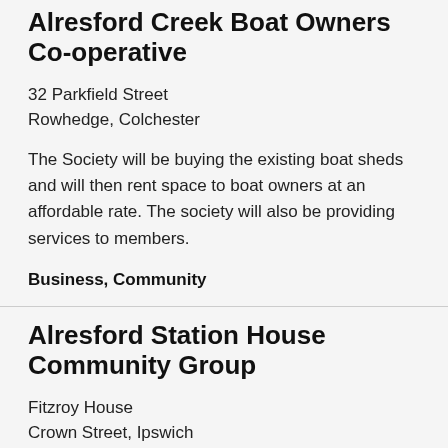Alresford Creek Boat Owners Co-operative
32 Parkfield Street
Rowhedge, Colchester
The Society will be buying the existing boat sheds and will then rent space to boat owners at an affordable rate. The society will also be providing services to members.
Business, Community
Alresford Station House Community Group
Fitzroy House
Crown Street, Ipswich